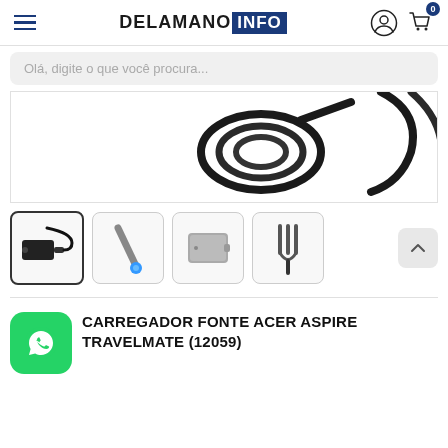DELAMANO INFO
Olá, digite o que você procura...
[Figure (photo): Product image showing black AC adapter cable coiled, partial view of power adapter components]
[Figure (photo): Thumbnail 1: AC power adapter with cable (selected/active)]
[Figure (photo): Thumbnail 2: Blue-tipped DC power connector plug]
[Figure (photo): Thumbnail 3: Grey power adapter brick]
[Figure (photo): Thumbnail 4: Power cable with prongs]
CARREGADOR FONTE ACER ASPIRE TRAVELMATE (12059)